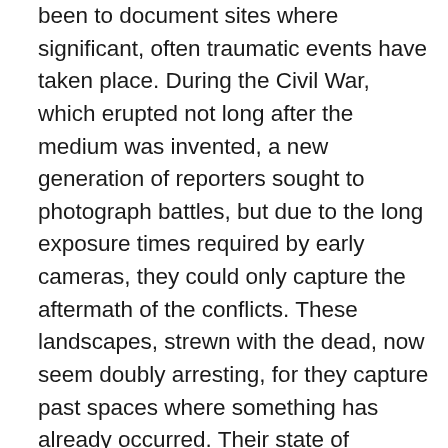been to document sites where significant, often traumatic events have taken place. During the Civil War, which erupted not long after the medium was invented, a new generation of reporters sought to photograph battles, but due to the long exposure times required by early cameras, they could only capture the aftermath of the conflicts. These landscapes, strewn with the dead, now seem doubly arresting, for they capture past spaces where something has already occurred. Their state of anteriority, witnessed at such an early stage in the medium's development, speaks to the very nature of a photograph, which possesses physical and chemical bonds to a past that disappears as soon as it is taken. As viewers, we are left with only traces from which we hope to reconstruct the absent occurrences in the fields, forests, homes, and offices depicted in the works in the exhibition. With this condition in mind, many artists, among them James